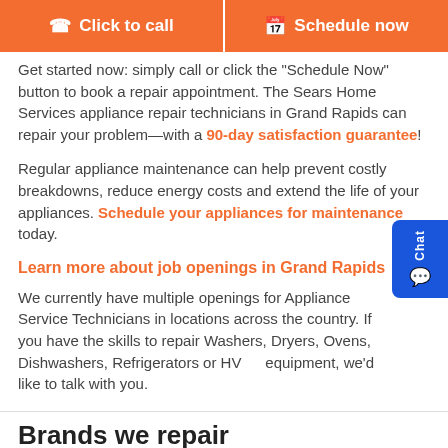[Figure (other): Two orange call-to-action buttons: 'Click to call' and 'Schedule now']
Get started now: simply call or click the "Schedule Now" button to book a repair appointment. The Sears Home Services appliance repair technicians in Grand Rapids can repair your problem—with a 90-day satisfaction guarantee!
Regular appliance maintenance can help prevent costly breakdowns, reduce energy costs and extend the life of your appliances. Schedule your appliances for maintenance today.
Learn more about job openings in Grand Rapids
We currently have multiple openings for Appliance Service Technicians in locations across the country. If you have the skills to repair Washers, Dryers, Ovens, Dishwashers, Refrigerators or HVAC equipment, we'd like to talk with you.
Brands we repair
No matter where you bought it, we can fix it. We repair most major brands, makes, and models.